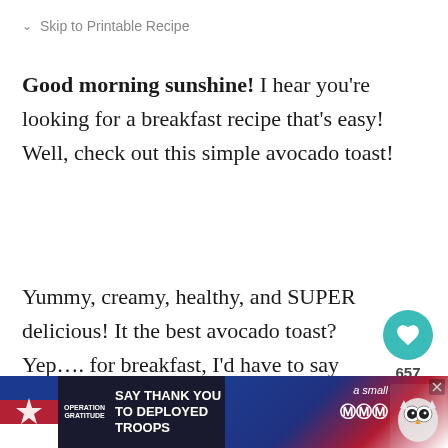↓  Skip to Printable Recipe
Good morning sunshine! I hear you're looking for a breakfast recipe that's easy! Well, check out this simple avocado toast!
Yummy, creamy, healthy, and SUPER delicious! It the best avocado toast? Yep…. for breakfast, I'd have to say so! (or, one of them, anyway!!!)
[Figure (infographic): Social sharing widget: teal heart button with 657 count and share icon]
[Figure (infographic): What's Next widget: thumbnail image of Shrimp and Avocado Bites with label]
This post may contain affiliate links. If you make a
[Figure (infographic): Advertisement banner: Operation Gratitude - Say Thank You To Deployed Troops, with patriotic imagery and owl cartoon]